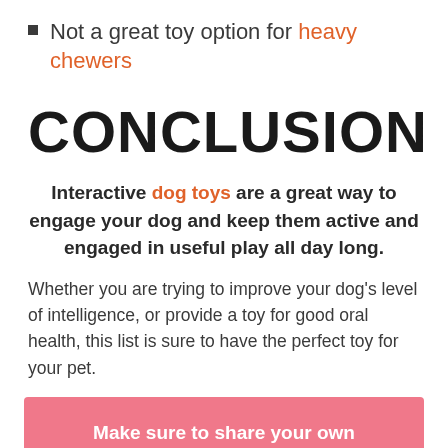Not a great toy option for heavy chewers
CONCLUSION
Interactive dog toys are a great way to engage your dog and keep them active and engaged in useful play all day long.
Whether you are trying to improve your dog's level of intelligence, or provide a toy for good oral health, this list is sure to have the perfect toy for your pet.
Make sure to share your own opinions of some of these products, or suggest other best interactive dog toys you've